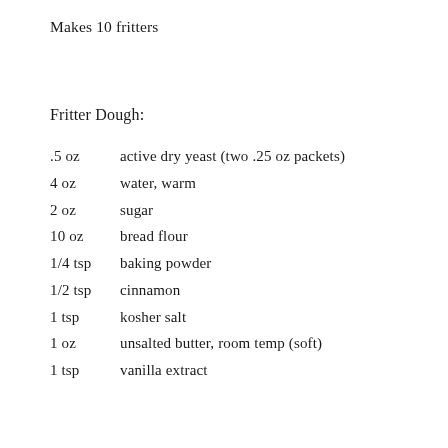Makes 10 fritters
Fritter Dough:
.5 oz    active dry yeast (two .25 oz packets)
4 oz    water, warm
2 oz    sugar
10 oz    bread flour
1/4 tsp    baking powder
1/2 tsp    cinnamon
1 tsp    kosher salt
1 oz    unsalted butter, room temp (soft)
1 tsp    vanilla extract